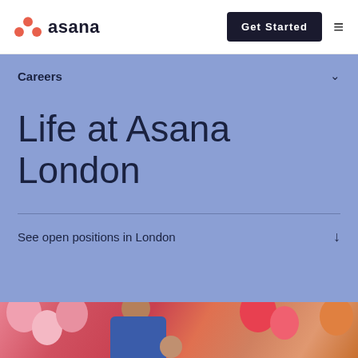asana | Get Started
Careers
Life at Asana London
See open positions in London
[Figure (photo): Photo of a man in a blue shirt at an event with pink and red balloons in the background]